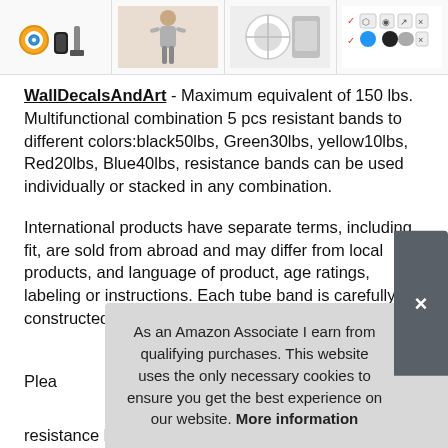[Figure (photo): Four product thumbnail images in a horizontal strip showing resistance bands, accessories and exercise equipment]
WallDecalsAndArt - Maximum equivalent of 150 lbs. Multifunctional combination 5 pcs resistant bands to different colors:black50lbs, Green30lbs, yellow10lbs, Red20lbs, Blue40lbs, resistance bands can be used individually or stacked in any combination.
International products have separate terms, including fit, are sold from abroad and may differ from local products, and language of product, age ratings, labeling or instructions. Each tube band is carefully constructed to resist snapping and breaking.
As an Amazon Associate I earn from qualifying purchases. This website uses the only necessary cookies to ensure you get the best experience on our website. More information
Please resistance bands is made of natural latex is kind to the